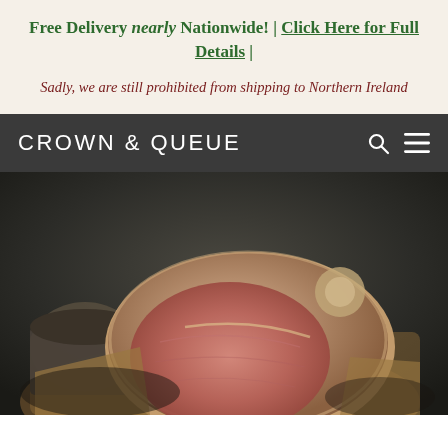Free Delivery nearly Nationwide! | Click Here for Full Details |
Sadly, we are still prohibited from shipping to Northern Ireland
CROWN & QUEUE
[Figure (photo): Dark moody food photography showing a large cured ham or gammon joint with visible fat rind and pink meat, wrapped in brown paper, placed on a dark slate or stone surface with a pot visible in the background.]